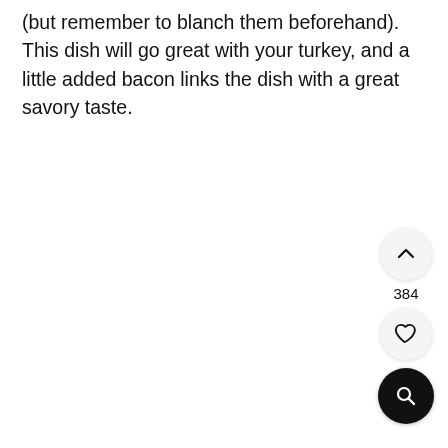(but remember to blanch them beforehand). This dish will go great with your turkey, and a little added bacon links the dish with a great savory taste.
[Figure (screenshot): UI buttons: an upvote/chevron-up button (circle, light background), a count label '384', a heart/like button (circle, light background), and a search button (circle, dark background with magnifying glass icon).]